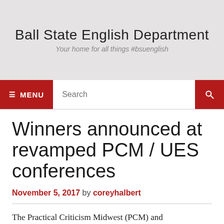Ball State English Department
Your home for all things #bsuenglish
Winners announced at revamped PCM / UES conferences
November 5, 2017 by coreyhalbert
The Practical Criticism Midwest (PCM) and